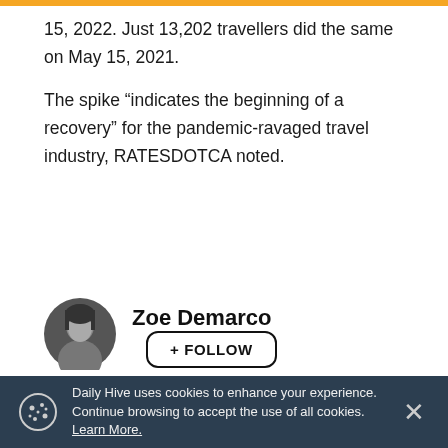15, 2022. Just 13,202 travellers did the same on May 15, 2021.
The spike “indicates the beginning of a recovery” for the pandemic-ravaged travel industry, RATESDOTCA noted.
[Figure (photo): Circular black-and-white profile photo of Zoe Demarco]
Zoe Demarco
+ FOLLOW
FOLLOW CHANNELS AND CATEGORIES
+ CURATED
+ TRAVEL
Daily Hive uses cookies to enhance your experience. Continue browsing to accept the use of all cookies. Learn More.